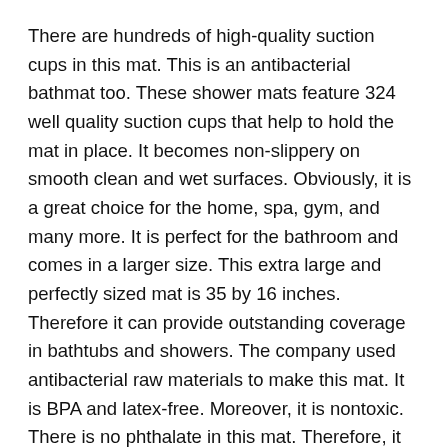There are hundreds of high-quality suction cups in this mat. This is an antibacterial bathmat too. These shower mats feature 324 well quality suction cups that help to hold the mat in place. It becomes non-slippery on smooth clean and wet surfaces. Obviously, it is a great choice for the home, spa, gym, and many more. It is perfect for the bathroom and comes in a larger size. This extra large and perfectly sized mat is 35 by 16 inches. Therefore it can provide outstanding coverage in bathtubs and showers. The company used antibacterial raw materials to make this mat. It is BPA and latex-free. Moreover, it is nontoxic. There is no phthalate in this mat. Therefore, it doesn’t give any toxic smell.
The best part is the drain holes. There are a good